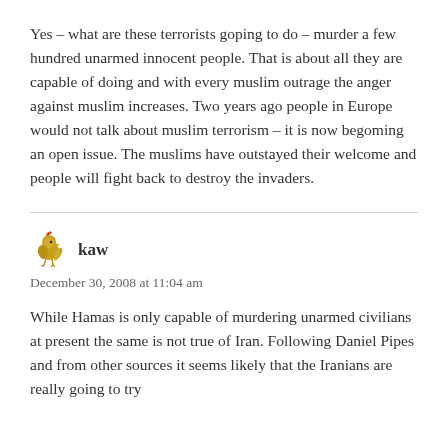Yes – what are these terrorists goping to do – murder a few hundred unarmed innocent people. That is about all they are capable of doing and with every muslim outrage the anger against muslim increases. Two years ago people in Europe would not talk about muslim terrorism – it is now begoming an open issue. The muslims have outstayed their welcome and people will fight back to destroy the invaders.
[Figure (illustration): Small golden bird/rooster avatar icon for user kaw]
kaw
December 30, 2008 at 11:04 am
While Hamas is only capable of murdering unarmed civilians at present the same is not true of Iran. Following Daniel Pipes and from other sources it seems likely that the Iranians are really going to try